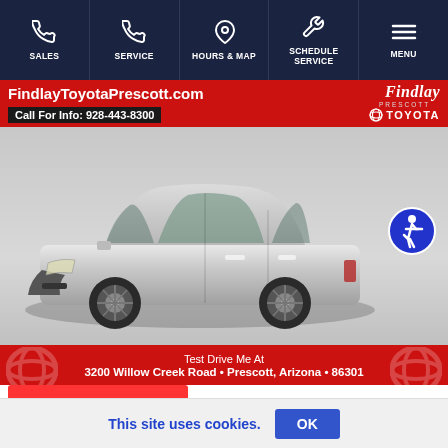SALES | SERVICE | HOURS & MAP | SCHEDULE SERVICE | MENU
[Figure (screenshot): Findlay Toyota Prescott dealership advertisement showing a silver Toyota Camry SE sedan. Top banner shows FindlayToyotaPrescott.com and Call For Info: 928-443-8300. Bottom banner reads: Test Drive Me At 3200 Willow Creek Road • Prescott, Arizona • 86301. Findlay Toyota logo in top right. Accessibility icon on right side of car image.]
This site uses cookies.
OK